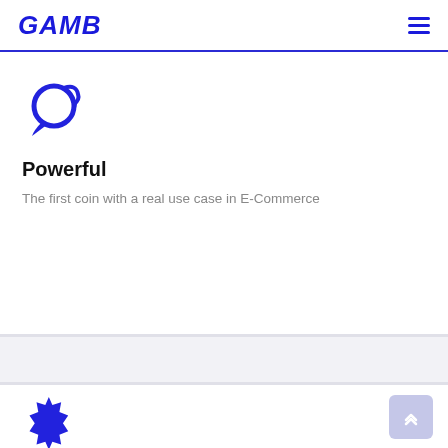GAMB
[Figure (logo): GAMB logo — bold blue italic text reading GAMB with a hamburger menu icon on the right]
[Figure (illustration): Blue circular speech/coin icon with a swirl arrow]
Powerful
The first coin with a real use case in E-Commerce
[Figure (illustration): Blue starburst / seal badge icon]